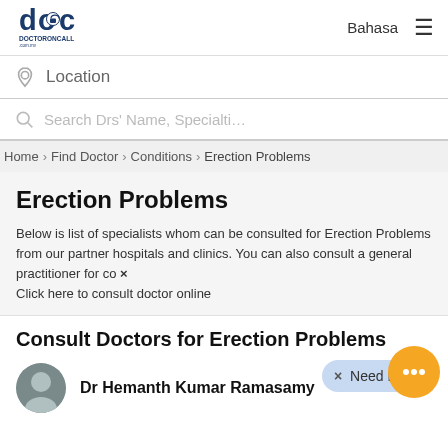DoctorOnCall — Bahasa ☰
Location
Search Drs' Name, Specialti…
Home › Find Doctor › Conditions › Erection Problems
Erection Problems
Below is list of specialists whom can be consulted for Erection Problems from our partner hospitals and clinics. You can also consult a general practitioner for co × Click here to consult doctor online
Need Help?
Consult Doctors for Erection Problems
Dr Hemanth Kumar Ramasamy